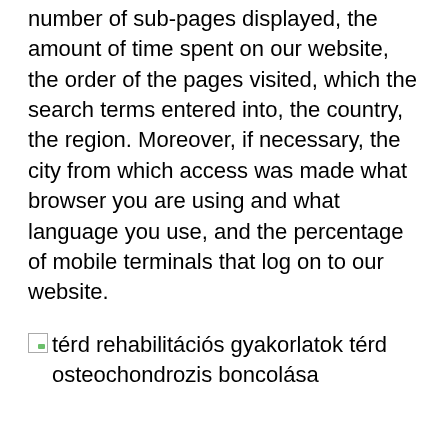number of sub-pages displayed, the amount of time spent on our website, the order of the pages visited, which the search terms entered into, the country, the region. Moreover, if necessary, the city from which access was made what browser you are using and what language you use, and the percentage of mobile terminals that log on to our website.
[Figure (photo): Broken image placeholder with alt text: térd rehabilitációs gyakorlatok térd osteochondrozis boncolása]